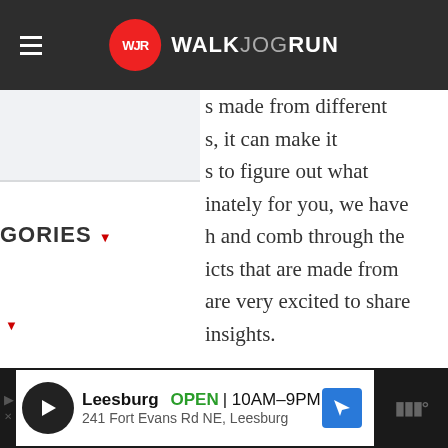WALKJOGRUN
s made from different s, it can make it s to figure out what inately for you, we have h and comb through the icts that are made from are very excited to share insights.
GORIES
eria Used for Plastic Shoes
[Figure (screenshot): Advertisement banner for a Leesburg store showing open hours 10AM-9PM and address 241 Fort Evans Rd NE, Leesburg]